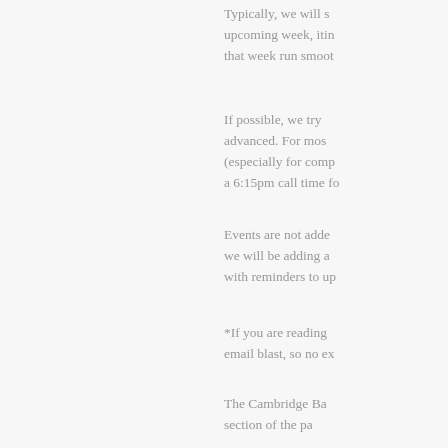Typically, we will s upcoming week, itin that week run smoot
If possible, we try advanced. For mos (especially for comp a 6:15pm call time fo
Events are not adde we will be adding a with reminders to up
*If you are reading email blast, so no ex
The Cambridge Ba section of the pa